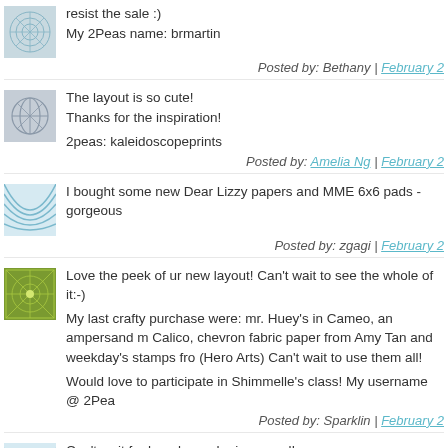resist the sale :)
My 2Peas name: brmartin
Posted by: Bethany | February 2
The layout is so cute!
Thanks for the inspiration!

2peas: kaleidoscopeprints
Posted by: Amelia Ng | February 2
I bought some new Dear Lizzy papers and MME 6x6 pads - gorgeous
Posted by: zgagi | February 2
Love the peek of ur new layout! Can't wait to see the whole of it:-)

My last crafty purchase were: mr. Huey's in Cameo, an ampersand m Calico, chevron fabric paper from Amy Tan and weekday's stamps from (Hero Arts) Can't wait to use them all!

Would love to participate in Shimmelle's class! My username @ 2Pea
Posted by: Sparklin | February 2
Can't wait for her class, she is so cool!